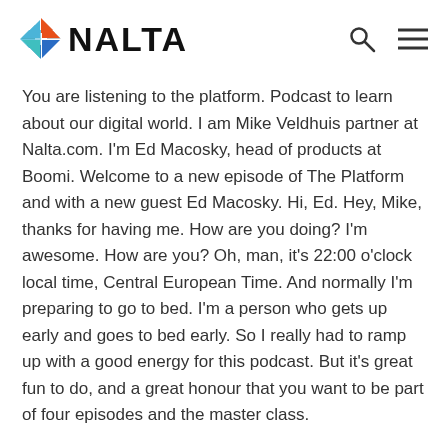NALTA
You are listening to the platform. Podcast to learn about our digital world. I am Mike Veldhuis partner at Nalta.com. I'm Ed Macosky, head of products at Boomi. Welcome to a new episode of The Platform and with a new guest Ed Macosky. Hi, Ed. Hey, Mike, thanks for having me. How are you doing? I'm awesome. How are you? Oh, man, it's 22:00 o'clock local time, Central European Time. And normally I'm preparing to go to bed. I'm a person who gets up early and goes to bed early. So I really had to ramp up with a good energy for this podcast. But it's great fun to do, and a great honour that you want to be part of four episodes and the master class.
Ed Macosky 0:59
Yeah, I'm looking forward to it. And thank you for